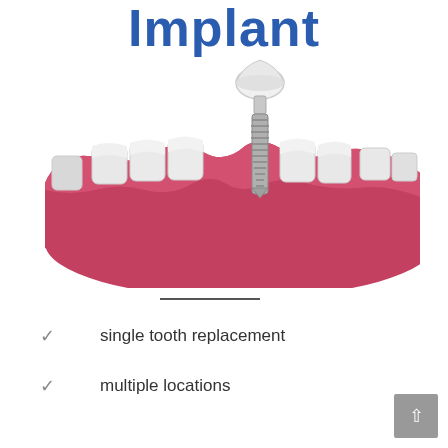Implant
[Figure (illustration): 3D medical illustration of a dental implant showing a titanium screw post inserted into gum tissue with a crown on top, surrounded by natural teeth on a lower jaw model with red/pink gum tissue]
single tooth replacement
multiple locations